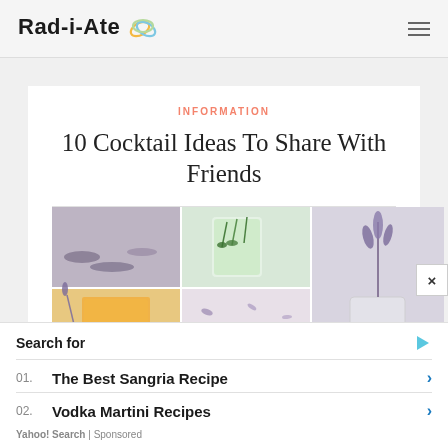Rad-i-Ate
INFORMATION
10 Cocktail Ideas To Share With Friends
[Figure (photo): Collage of cocktail and herb photos: amber cocktail glass, green herb drink, lavender sprig in jar, dried herbs and flowers]
Search for
01. The Best Sangria Recipe
02. Vodka Martini Recipes
Yahoo! Search | Sponsored